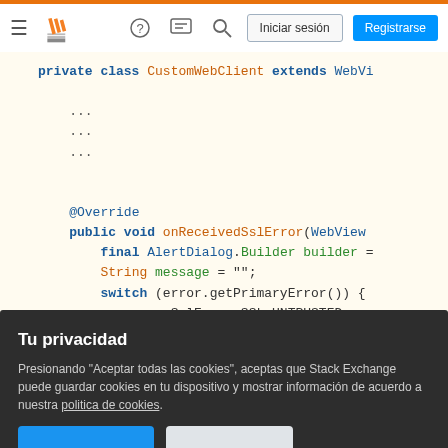Stack Overflow navigation bar with hamburger menu, logo, icons, Iniciar sesión and Registrarse buttons
[Figure (screenshot): Code snippet showing partial Java class definition: private class CustomWebClient extends WebVi with ellipsis lines and @Override public void onReceivedSslError(WebView, final AlertDialog.Builder builder =, String message = "";, switch (error.getPrimaryError()) {, case SslError.SSL_UNTRUSTED:]
Tu privacidad
Presionando "Aceptar todas las cookies", aceptas que Stack Exchange puede guardar cookies en tu dispositivo y mostrar información de acuerdo a nuestra politica de cookies.
Aceptar todas las cookies
Personalizar las configuraciones
break;